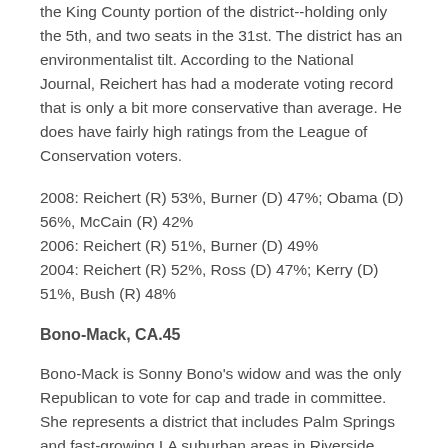the King County portion of the district--holding only the 5th, and two seats in the 31st. The district has an environmentalist tilt. According to the National Journal, Reichert has had a moderate voting record that is only a bit more conservative than average. He does have fairly high ratings from the League of Conservation voters.
2008: Reichert (R) 53%, Burner (D) 47%; Obama (D) 56%, McCain (R) 42%
2006: Reichert (R) 51%, Burner (D) 49%
2004: Reichert (R) 52%, Ross (D) 47%; Kerry (D) 51%, Bush (R) 48%
Bono-Mack, CA.45
Bono-Mack is Sonny Bono's widow and was the only Republican to vote for cap and trade in committee. She represents a district that includes Palm Springs and fast-growing LA suburban areas in Riverside County's Moreno Valley. I